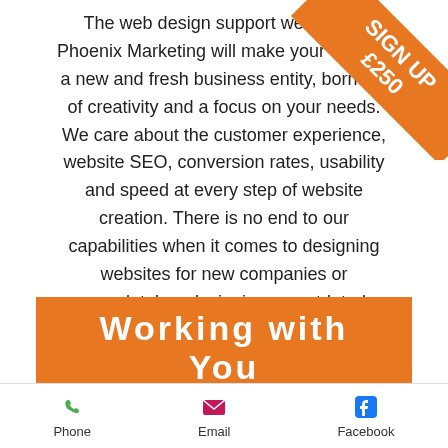The web design support we offer at Phoenix Marketing will make your website a new and fresh business entity, born out of creativity and a focus on your needs. We care about the customer experience, website SEO, conversion rates, usability and speed at every step of website creation. There is no end to our capabilities when it comes to designing websites for new companies or completely redesigning an outdated company website!
[Figure (infographic): Orange corner banner with text SIGN UP £250]
Working with You
We do website design and branding for a lot of companies.
Phone  Email  Facebook